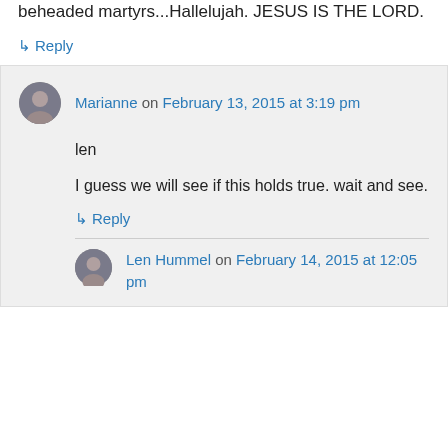beheaded martyrs...Hallelujah. JESUS IS THE LORD.
↳ Reply
Marianne on February 13, 2015 at 3:19 pm
len
I guess we will see if this holds true. wait and see.
↳ Reply
Len Hummel on February 14, 2015 at 12:05 pm